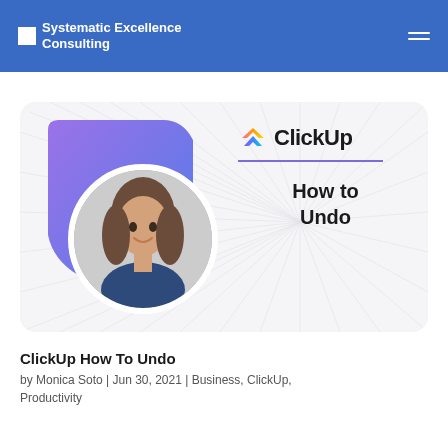Systematic Excellence Consulting
[Figure (screenshot): Article feature image showing the ClickUp logo with text 'How to Undo' on a white/grey radial background, with a purple blob shape and circular profile photo of Monica Soto on the left side.]
ClickUp How To Undo
by Monica Soto | Jun 30, 2021 | Business, ClickUp, Productivity